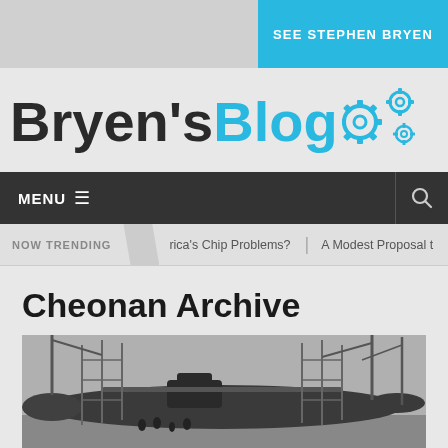SEE STEPHEN BRYEN
Bryen's Blog
[Figure (logo): Gear icon decorating the Bryen's Blog logo]
MENU
NOW TRENDING | rica's Chip Problems? | A Modest Proposal t
Cheonan Archive
[Figure (photo): Black and white photograph of a submarine in a shipyard with scaffolding and cranes]